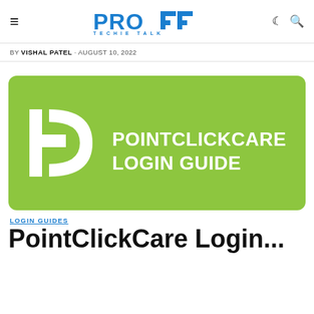PRO TT TECHIE TALK
BY VISHAL PATEL · AUGUST 10, 2022
[Figure (illustration): Green rounded rectangle banner image with PointClickCare logo (white P+D symbol) on left and white bold text 'POINTCLICKCARE LOGIN GUIDE' on right]
LOGIN GUIDES
PointClickCare Login...